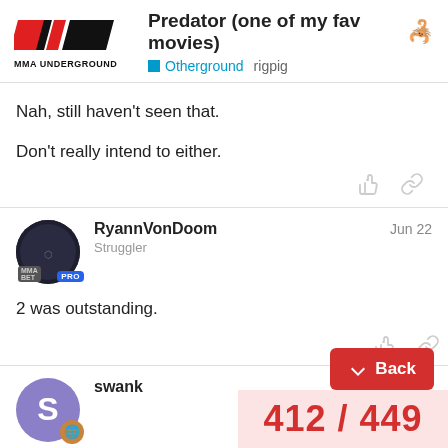Predator (one of my fav movies) 🦂 | Otherground | rigpig
Nah, still haven't seen that.

Don't really intend to either.
RyannVonDoom Jun 22
Struggler
2 was outstanding.
swank Jun 22